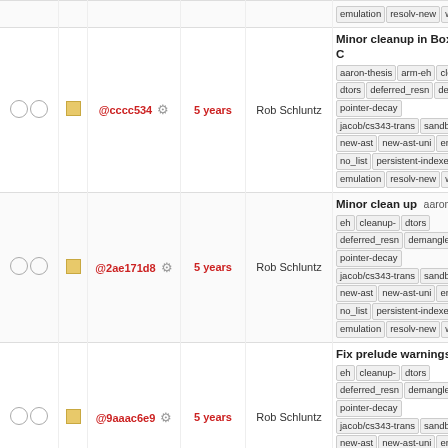|  |  |  | Hash | Time | Author | Info |
| --- | --- | --- | --- | --- | --- | --- |
| ○ ○ | □ | @cccc534 | 5 years | Rob Schluntz | Minor cleanup in Box and C… | aaron-thesis arm-eh cleanup- dtors deferred_resn demangle pointer-decay jacob/cs343-trans sandbox new-ast new-ast-uni env no_list persistent-indexer emulation resolv-new with_gc |
| ○ ○ | □ | @2ae171d8 | 5 years | Rob Schluntz | Minor clean up | aaron-thesis eh cleanup- dtors deferred_resn demangle pointer-decay jacob/cs343-trans sandbox new-ast new-ast-uni env no_list persistent-indexer emulation resolv-new with_gc |
| ○ ○ | □ | @9aaac6e9 | 5 years | Rob Schluntz | Fix prelude warnings | aaron- eh cleanup- dtors deferred_resn demangle pointer-decay jacob/cs343-trans sandbox new-ast new-ast-uni env no_list persistent-indexer emulation resolv-new with_gc |
| ○ ○ | □ | @8135d4c | 5 years | Rob Schluntz | Merge branch 'master' into… | aaron-thesis arm-eh cleanup- dtors deferred_resn demangle pointer-decay jacob/cs343-trans sandbox new-ast new-ast-uni env no_list persistent-indexer emulation resolv-new with_gc |
| ○ ○ | □ | @fc56cdbf | 5 years | Rob Schluntz | Handle conversions between types of different depths | a… eh cleanup- dtors deferred_resn demangle pointer-decay jacob/cs343-trans sandbox new-ast |